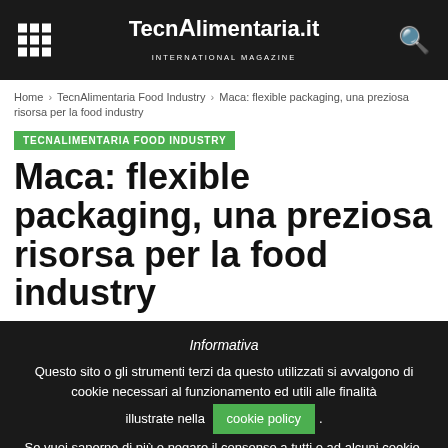TecnAlimentaria.it — INTERNATIONAL MAGAZINE
Home › TecnAlimentaria Food Industry › Maca: flexible packaging, una preziosa risorsa per la food industry
TECNALIMENTARIA FOOD INDUSTRY
Maca: flexible packaging, una preziosa risorsa per la food industry
Informativa
Questo sito o gli strumenti terzi da questo utilizzati si avvalgono di cookie necessari al funzionamento ed utili alle finalità illustrate nella cookie policy.
Se vuoi saperne di più o negare il consenso a tutti o ad alcuni cookie, consulta la cookie policy.
Chiudendo questo banner, scorrendo questa pagina, cliccando su un link o proseguendo la navigazione in altra maniera,